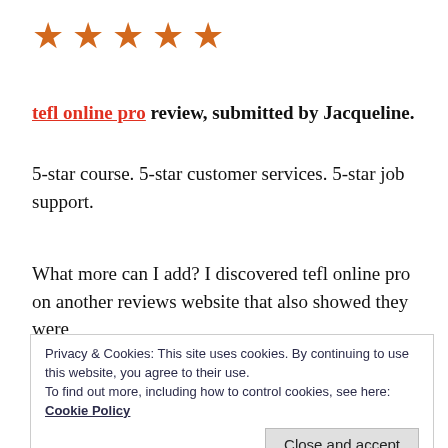[Figure (other): Five orange star rating icons in a row]
tefl online pro review, submitted by Jacqueline.
5-star course. 5-star customer services. 5-star job support.
What more can I add? I discovered tefl online pro on another reviews website that also showed they were
Privacy & Cookies: This site uses cookies. By continuing to use this website, you agree to their use.
To find out more, including how to control cookies, see here: Cookie Policy
about some of the scam TEFL course online tricksters